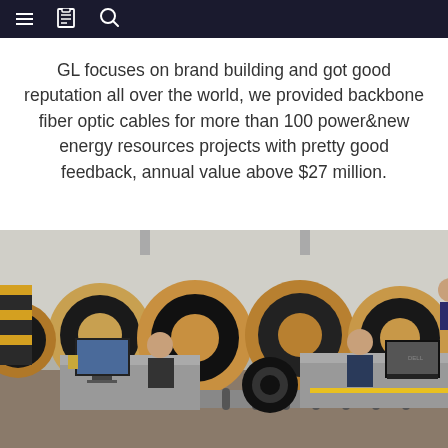Navigation bar with menu, document, and search icons
GL focuses on brand building and got good reputation all over the world, we provided backbone fiber optic cables for more than 100 power&new energy resources projects with pretty good feedback, annual value above $27 million.
[Figure (photo): Workers at a fiber optic cable manufacturing facility, with large wooden cable spools/reels in the background. Two workers are seated at workstations with computers (Dell laptop visible), and cable reels on conveyor-style roller systems are visible in foreground.]